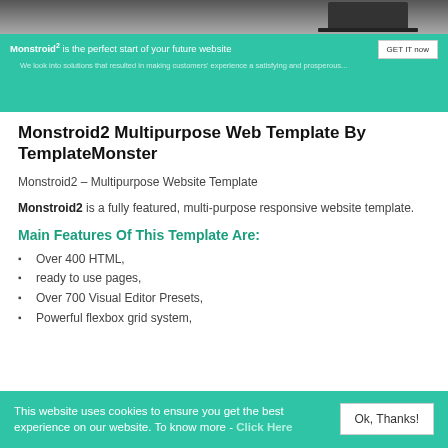[Figure (screenshot): Screenshot of a website banner with dark header image and teal/green area with text 'Monstroid2 is the perfect start of your future website' and a 'GET IT now' button, plus a subtitle line below.]
Monstroid2 Multipurpose Web Template By TemplateMonster
Monstroid2 – Multipurpose Website Template
Monstroid2 is a fully featured, multi-purpose responsive website template.
Main Features Of This Template Are:
Over 400 HTML,
ready to use pages,
Over 700 Visual Editor Presets,
Powerful flexbox grid system,
This website uses cookies to ensure you get the best experience on our website. To know more - Click Here